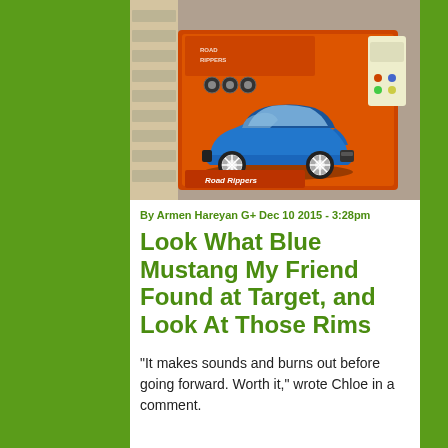[Figure (photo): A blue Ford Mustang toy car in an orange Road Rippers box, displayed on a store shelf. The toy car has chrome rims and is a die-cast model.]
By Armen Hareyan G+ Dec 10 2015 - 3:28pm
Look What Blue Mustang My Friend Found at Target, and Look At Those Rims
"It makes sounds and burns out before going forward. Worth it," wrote Chloe in a comment.